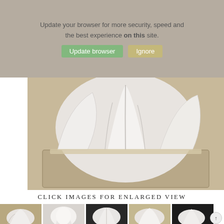Update your browser for more security, speed and the best experience on this site. Update browser   Ignore
[Figure (photo): White pocket square or handkerchief folded and displayed in a tan/beige linen pocket square holder, photographed from above on a matching tan linen background.]
CLICK IMAGES FOR ENLARGED VIEW
[Figure (photo): Row of five thumbnail images showing different white pocket square fold styles on various backgrounds (tan, white/black, dark, tan, dark).]